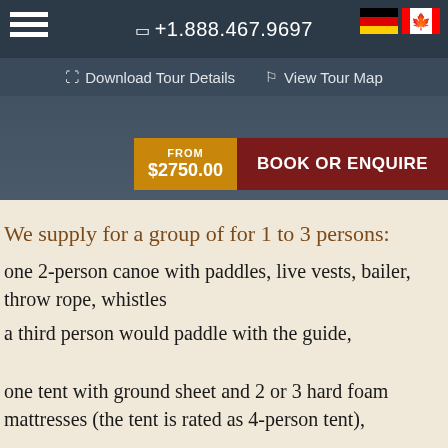+1.888.467.9697
Download Tour Details   View Tour Map
FROM $2750.00   BOOK OR ENQUIRE
We supply for a group of for 1 to 3 persons:
one 2-person canoe with paddles, live vests, bailer, throw rope, whistles
a third person would paddle with the guide,
one tent with ground sheet and 2 or 3 hard foam mattresses (the tent is rated as 4-person tent),